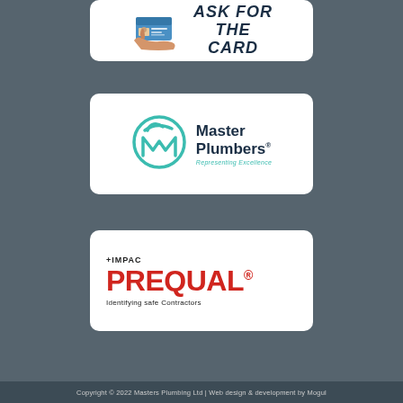[Figure (logo): White card with hand holding an ID card image and bold italic text reading ASK FOR THE CARD]
[Figure (logo): Master Plumbers logo: teal circular M with checkmark, text Master Plumbers Representing Excellence]
[Figure (logo): +IMPAC PREQUAL logo with tagline Identifying safe Contractors]
Copyright © 2022 Masters Plumbing Ltd | Web design & development by Mogul